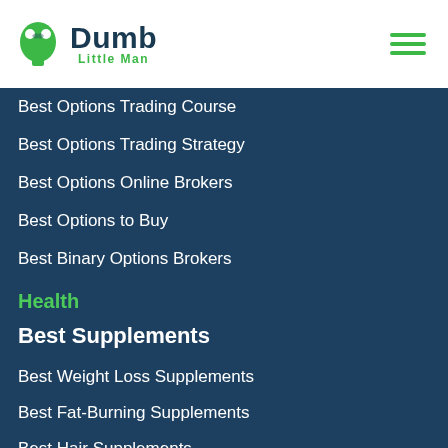[Figure (logo): Dumb Little Man logo with green puzzle-piece head silhouette icon and text 'Dumb Little Man']
Best Options Trading Course
Best Options Trading Strategy
Best Options Online Brokers
Best Options to Buy
Best Binary Options Brokers
Health
Best Supplements
Best Weight Loss Supplements
Best Fat-Burning Supplements
Best Hair Supplements
Best Vision Supplements
Best Memory Supplements
Best Natural Testosterone Boosters